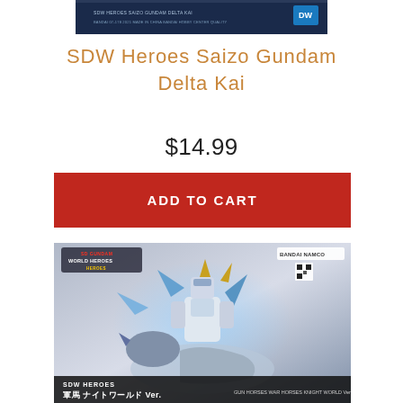[Figure (photo): Product box top image - SDW Heroes Saizo Gundam Delta Kai box top, dark blue with Bandai logo, small product text visible]
SDW Heroes Saizo Gundam Delta Kai
$14.99
ADD TO CART
[Figure (photo): SDW Heroes product box showing a white/blue armored mecha riding a dragon-like creature. Box shows 'SDW HEROES' branding, Bandai Namco logo, Japanese text '軍馬 ナイトワールド Ver.' and 'GUN HORSES WAR HORSES KNIGHT WORLD Ver.' text at bottom.]